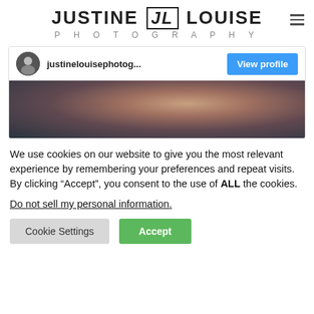[Figure (logo): Justine Louise Photography logo with JL monogram in brackets]
[Figure (screenshot): Instagram embed preview showing justinelouisephotog... account with View profile button and a partial photo of a person]
We use cookies on our website to give you the most relevant experience by remembering your preferences and repeat visits. By clicking “Accept”, you consent to the use of ALL the cookies.
Do not sell my personal information.